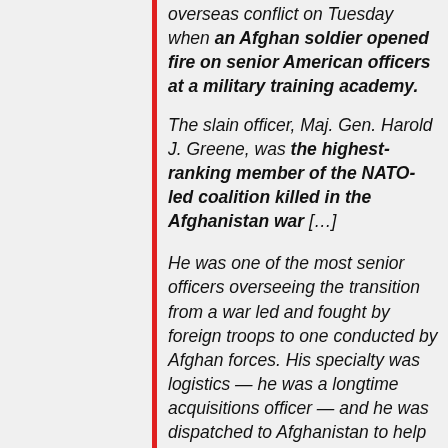overseas conflict on Tuesday when an Afghan soldier opened fire on senior American officers at a military training academy.
The slain officer, Maj. Gen. Harold J. Greene, was the highest-ranking member of the NATO-led coalition killed in the Afghanistan war […]
He was one of the most senior officers overseeing the transition from a war led and fought by foreign troops to one conducted by Afghan forces. His specialty was logistics — he was a longtime acquisitions officer — and he was dispatched to Afghanistan to help the Afghan military address one of its most potentially debilitating weaknesses: inability to manage soldiers and weaponry.